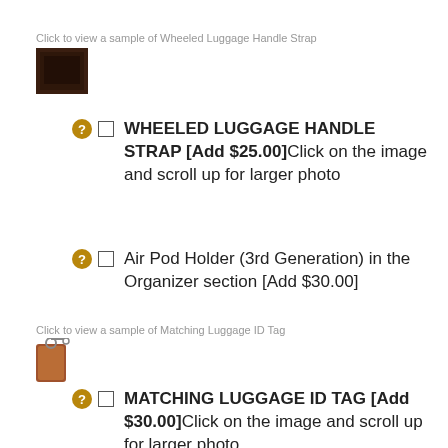Click to view a sample of Wheeled Luggage Handle Strap
[Figure (photo): Small thumbnail image of a dark brown wheeled luggage handle strap]
WHEELED LUGGAGE HANDLE STRAP [Add $25.00]Click on the image and scroll up for larger photo
Air Pod Holder (3rd Generation) in the Organizer section [Add $30.00]
Click to view a sample of Matching Luggage ID Tag
[Figure (photo): Small thumbnail image of a brown leather luggage ID tag]
MATCHING LUGGAGE ID TAG [Add $30.00]Click on the image and scroll up for larger photo